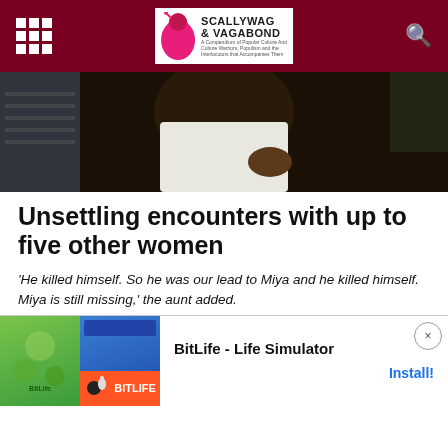Scallywag & Vagabond
[Figure (photo): Close-up photo of two or three people, one wearing a white tank top, against a dark background]
Unsettling encounters with up to five other women
'He killed himself. So he was our lead to Miya and he killed himself. Miya is still missing,' the aunt added.
Marcano's aunt said relatives knocked on several neighbors' doors Saturday and up to five women said they too had unsettling encounters with Caballero, some of whom said they filed complaints about him
[Figure (other): BitLife - Life Simulator advertisement banner with green and red imagery and BitLife logo]